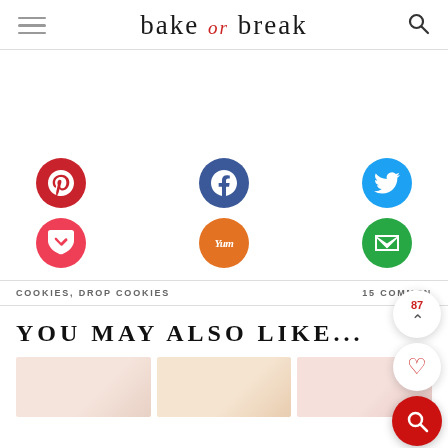bake or break
[Figure (infographic): Six social sharing buttons: Pinterest (red), Facebook (dark blue), Twitter (light blue), Pocket (pink-red), Yummly (orange), Email (green). Arranged in 2 rows of 3.]
COOKIES, DROP COOKIES   15 COMMENTS
YOU MAY ALSO LIKE...
[Figure (photo): Three thumbnail images side by side at the bottom of the page.]